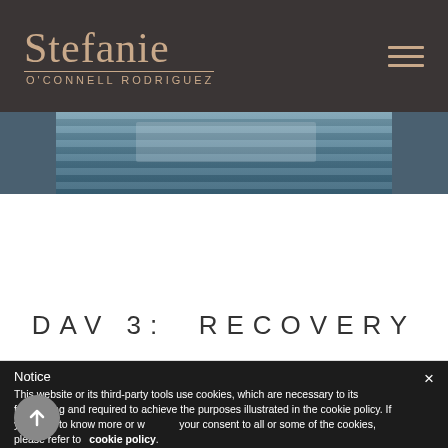Stefanie O'CONNELL RODRIGUEZ
[Figure (photo): Cropped photo showing stadium bleachers/crowd area with blue tones]
DAY 3:  RECOVERY
Notice
This website or its third-party tools use cookies, which are necessary to its functioning and required to achieve the purposes illustrated in the cookie policy. If you want to know more or withdraw your consent to all or some of the cookies, please refer to the cookie policy.
By closing this banner, scrolling this page, clicking a link or continuing to browse otherwise, you agree to the use of cookies.